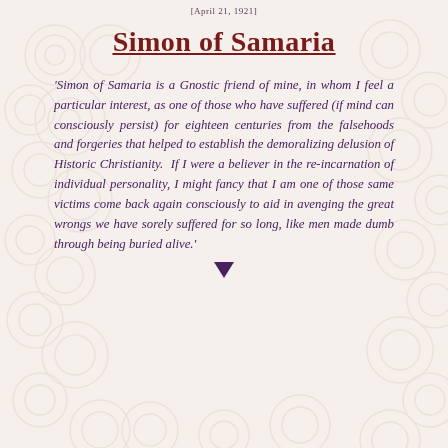[April 21, 1921]
Simon of Samaria
'Simon of Samaria is a Gnostic friend of mine, in whom I feel a particular interest, as one of those who have suffered (if mind can consciously persist) for eighteen centuries from the falsehoods and forgeries that helped to establish the demoralizing delusion of Historic Christianity.  If I were a believer in the re-incarnation of individual personality, I might fancy that I am one of those same victims come back again consciously to aid in avenging the great wrongs we have sorely suffered for so long, like men made dumb through being buried alive.'